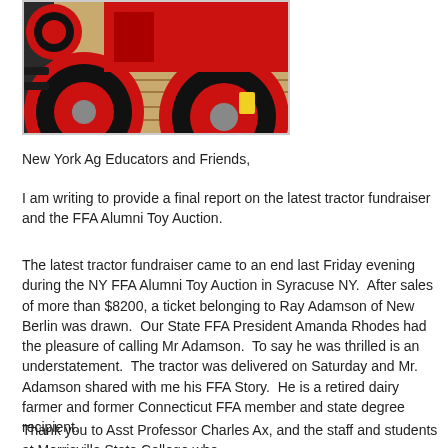[Figure (photo): Partial photo of a red tractor on a wooden trailer/deck, showing large red wheels and tires from a low angle.]
New York Ag Educators and Friends,
I am writing to provide a final report on the latest tractor fundraiser and the FFA Alumni Toy Auction.
The latest tractor fundraiser came to an end last Friday evening during the NY FFA Alumni Toy Auction in Syracuse NY.  After sales of more than $8200, a ticket belonging to Ray Adamson of New Berlin was drawn.  Our State FFA President Amanda Rhodes had the pleasure of calling Mr Adamson.  To say he was thrilled is an understatement.  The tractor was delivered on Saturday and Mr. Adamson shared with me his FFA Story.  He is a retired dairy farmer and former Connecticut FFA member and state degree recipient.
Thank you to Asst Professor Charles Ax, and the staff and students at Morrisville State College who constructed the tractor to the highest...